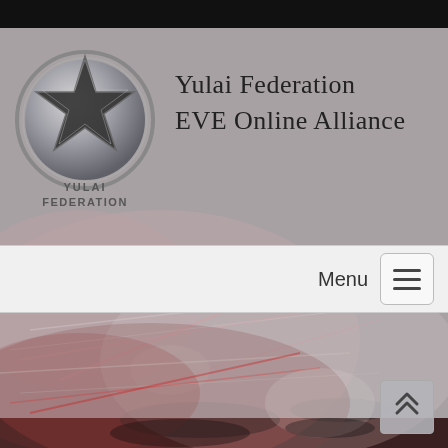[Figure (logo): Yulai Federation star logo with metallic star and circular ring, text YULAI FEDERATION below]
Yulai Federation
EVE Online Alliance
[Figure (screenshot): Navigation menu bar with Menu label and hamburger button on the right]
[Figure (photo): EVE Online space battle scene background with ships and red laser beams, dark atmospheric]
[Figure (illustration): Scroll-to-top arrow button in bottom right corner]